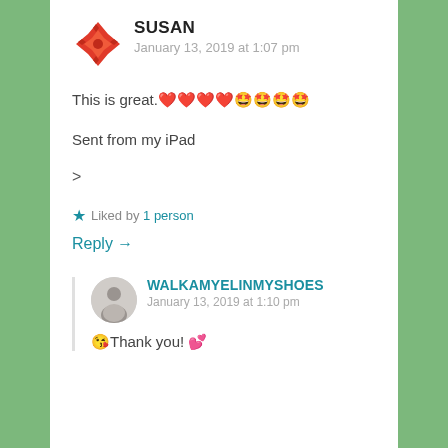[Figure (illustration): Red diamond/cross avatar icon for user Susan]
SUSAN
January 13, 2019 at 1:07 pm
This is great. ❤️❤️❤️❤️🤩🤩🤩🤩
Sent from my iPad
>
★ Liked by 1 person
Reply →
[Figure (photo): Circular avatar photo of walkamyelinmyshoes user]
WALKAMYELINMYSHOES
January 13, 2019 at 1:10 pm
😘 Thank you! 💕